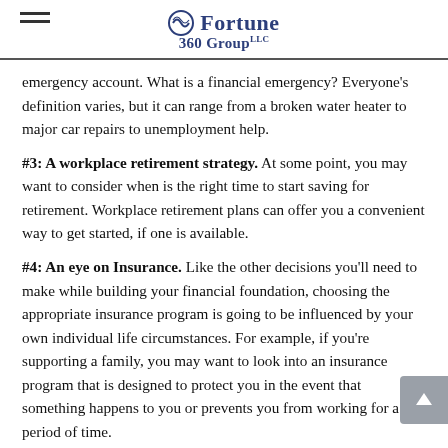Fortune 360 Group LLC
emergency account. What is a financial emergency? Everyone's definition varies, but it can range from a broken water heater to major car repairs to unemployment help.
#3: A workplace retirement strategy. At some point, you may want to consider when is the right time to start saving for retirement. Workplace retirement plans can offer you a convenient way to get started, if one is available.
#4: An eye on Insurance. Like the other decisions you'll need to make while building your financial foundation, choosing the appropriate insurance program is going to be influenced by your own individual life circumstances. For example, if you're supporting a family, you may want to look into an insurance program that is designed to protect you in the event that something happens to you or prevents you from working for a period of time.